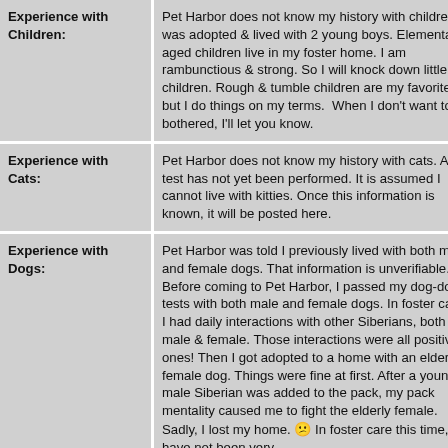| Category | Description |
| --- | --- |
| Experience with Children: | Pet Harbor does not know my history with children. I was adopted & lived with 2 young boys. Elementary-aged children live in my foster home. I am rambunctious & strong. So I will knock down little children. Rough & tumble children are my favorite, but I do things on my terms. When I don't want to be bothered, I'll let you know. |
| Experience with Cats: | Pet Harbor does not know my history with cats. A cat test has not yet been performed. It is assumed I cannot live with kitties. Once this information is known, it will be posted here. |
| Experience with Dogs: | Pet Harbor was told I previously lived with both male and female dogs. That information is unverifiable. Before coming to Pet Harbor, I passed my dog-dog tests with both male and female dogs. In foster care, I had daily interactions with other Siberians, both male & female. Those interactions were all positive ones! Then I got adopted to a home with an elderly female dog. Things were fine at first. After a young male Siberian was added to the pack, my pack mentality caused me to fight the elderly female. Sadly, I lost my home. 😕 In foster care this time, I have not been very |